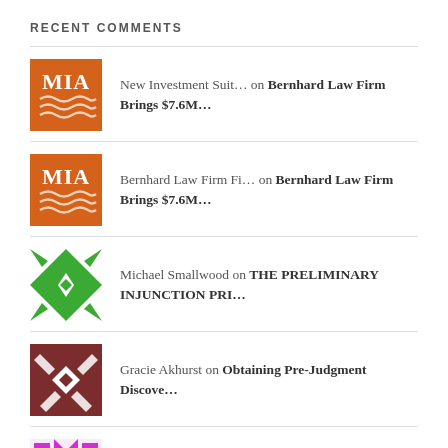RECENT COMMENTS
New Investment Suit… on Bernhard Law Firm Brings $7.6M…
Bernhard Law Firm Fi… on Bernhard Law Firm Brings $7.6M…
Michael Smallwood on THE PRELIMINARY INJUNCTION PRI…
Gracie Akhurst on Obtaining Pre-Judgment Discove…
Marlene Solis on HOW TO DETERMINE REASONABLE AT…